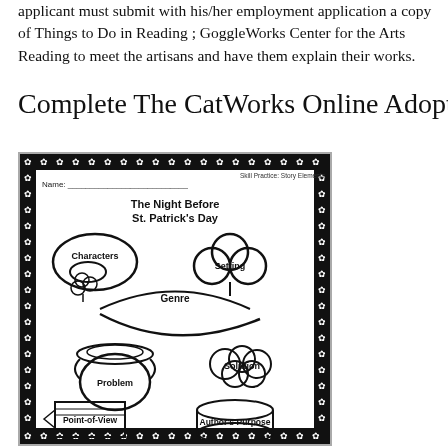applicant must submit with his/her employment application a copy of Things to Do in Reading ; GoggleWorks Center for the Arts Reading to meet the artisans and have them explain their works.
Complete The CatWorks Online Adoption Ap
[Figure (illustration): A worksheet titled 'The Night Before St. Patrick's Day' with a graphic organizer showing story elements: Characters (leprechaun hat shape), Setting (shamrock shape), Genre (label with rainbow arc), Problem (pot of gold shape), Solution (cloud shape), Point-of-View (arrow/book shape), Author's Purpose (cylinder/drum shape). Bordered with a decorative snowflake/star pattern black border.]